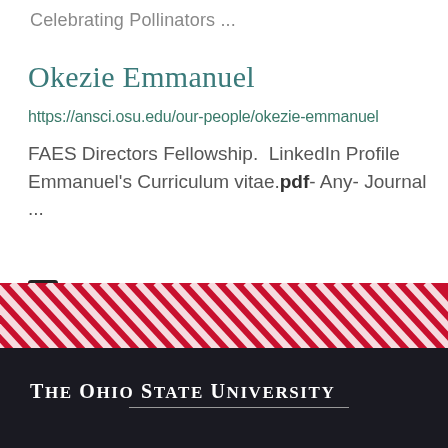Celebrating Pollinators ...
Okezie Emmanuel
https://ansci.osu.edu/our-people/okezie-emmanuel
FAES Directors Fellowship.  LinkedIn Profile   Emmanuel's Curriculum vitae.pdf- Any- Journal ...
1 2 3 4 5 6 7 8 9 ···next › last »
[Figure (other): Ohio State University diagonal red and white striped banner bar]
The Ohio State University